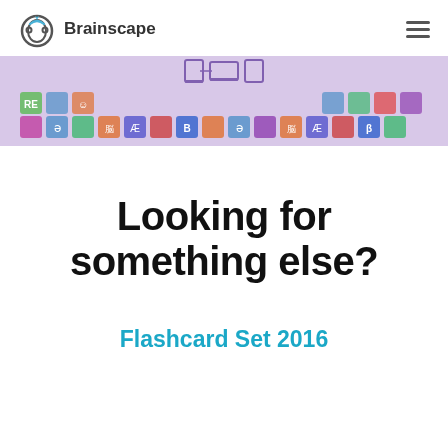Brainscape
[Figure (screenshot): Brainscape app banner showing a grid of colorful flashcard category icons with device icons at the top center]
Looking for something else?
Flashcard Set 2016